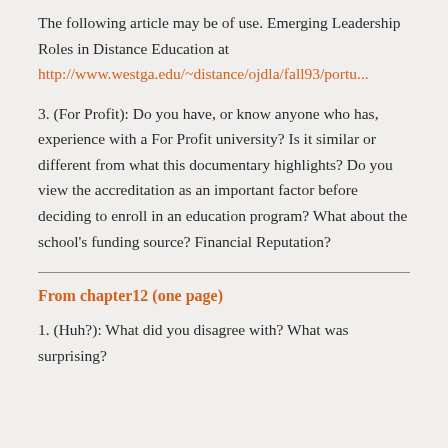The following article may be of use. Emerging Leadership Roles in Distance Education at http://www.westga.edu/~distance/ojdla/fall93/portu...
3. (For Profit): Do you have, or know anyone who has, experience with a For Profit university? Is it similar or different from what this documentary highlights? Do you view the accreditation as an important factor before deciding to enroll in an education program? What about the school's funding source? Financial Reputation?
From chapter12 (one page)
1. (Huh?): What did you disagree with? What was surprising?